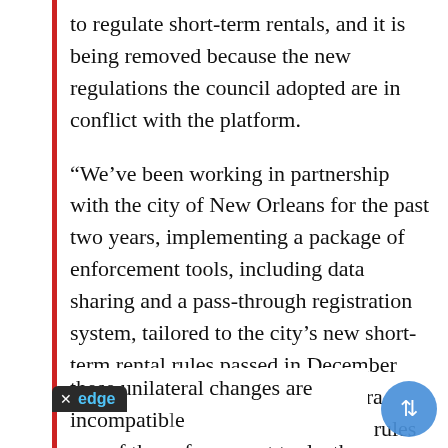to regulate short-term rentals, and it is being removed because the new regulations the council adopted are in conflict with the platform.
“We’ve been working in partnership with the city of New Orleans for the past two years, implementing a package of enforcement tools, including data sharing and a pass-through registration system, tailored to the city’s new short-term rental rules passed in December 2016,” Airbnb spokeswoman Laura Rillos said. “The city changed the rules in May 2018, and these unilateral changes are incompatib… one of the enforcement tools, the regist…